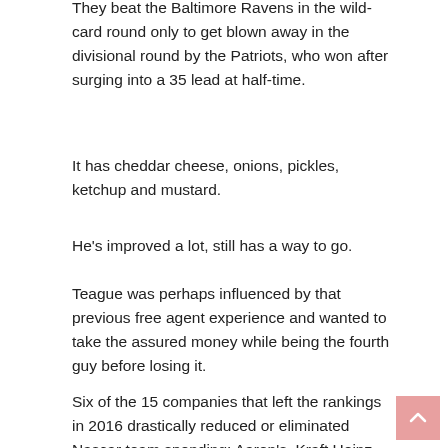They beat the Baltimore Ravens in the wild-card round only to get blown away in the divisional round by the Patriots, who won after surging into a 35 lead at half-time.
It has cheddar cheese, onions, pickles, ketchup and mustard.
He's improved a lot, still has a way to go.
Teague was perhaps influenced by that previous free agent experience and wanted to take the assured money while being the fourth guy before losing it.
Six of the 15 companies that left the rankings in 2016 drastically reduced or eliminated Nascar team spending: Aaron's, Kraft Heinz, Bass Pro, Clorox, Go Daddy and Scotts, according to ESP.
I loved how our guys finished the game, I thought we had two critical stops at the end of the game